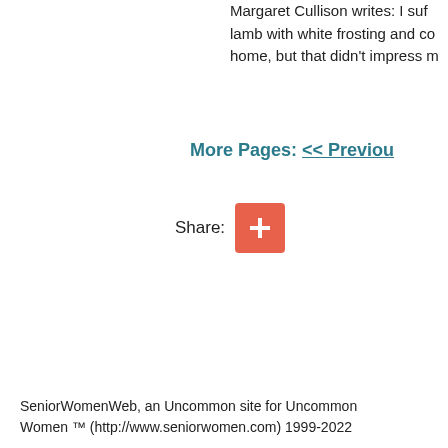Margaret Cullison writes: I suf... lamb with white frosting and co... home, but that didn't impress m...
More Pages: << Previou
Share: +
SeniorWomenWeb, an Uncommon site for Uncommon Women ™ (http://www.seniorwomen.com) 1999-2022